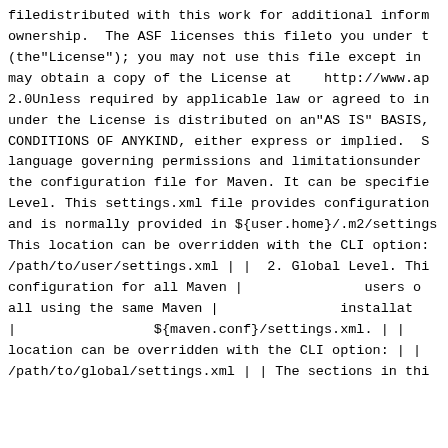filedistributed with this work for additional informa ownership.  The ASF licenses this fileto you under th (the"License"); you may not use this file except in  may obtain a copy of the License at    http://www.ap 2.0Unless required by applicable law or agreed to in under the License is distributed on an"AS IS" BASIS, CONDITIONS OF ANYKIND, either express or implied.  S language governing permissions and limitationsunder t the configuration file for Maven. It can be specifie Level. This settings.xml file provides configuration and is normally provided in ${user.home}/.m2/settings This location can be overridden with the CLI option: /path/to/user/settings.xml | |  2. Global Level. Thi configuration for all Maven |                users  all using the same Maven |                installat |                  ${maven.conf}/settings.xml. | | location can be overridden with the CLI option: | | /path/to/global/settings.xml | | The sections in thi